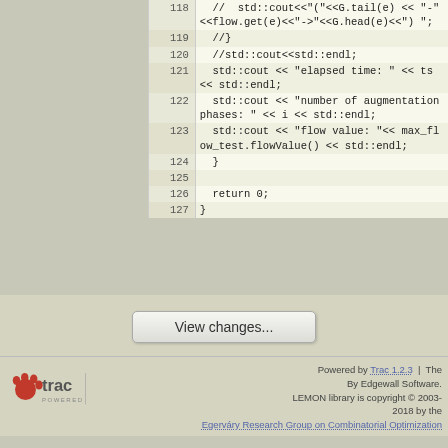[Figure (screenshot): Source code viewer showing lines 118-127 of a C++ file with max-flow algorithm code. Lines show cout statements printing elapsed time, augmentation phases, flow value, and closing braces.]
View changes...
Note: See TracBrowser for help on using the repository browser.
Download in other formats:
Plain Text | Original Format
Powered by Trac 1.2.3 | The By Edgewall Software. LEMON library is copyright © 2003-2018 by the Egerváry Research Group on Combinatorial Optimization